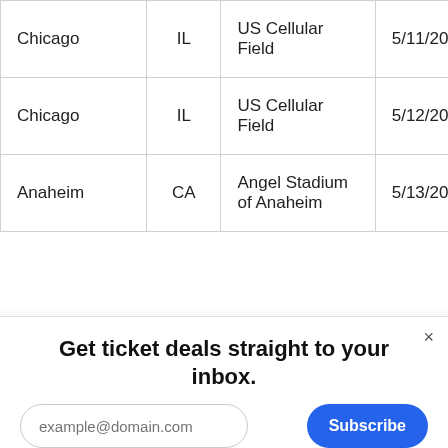| City | State | Venue | Date |
| --- | --- | --- | --- |
| Chicago | IL | US Cellular Field | 5/11/201… |
| Chicago | IL | US Cellular Field | 5/12/201… |
| Anaheim | CA | Angel Stadium of Anaheim | 5/13/201… |
Get ticket deals straight to your inbox.
example@domain.com
Subscribe